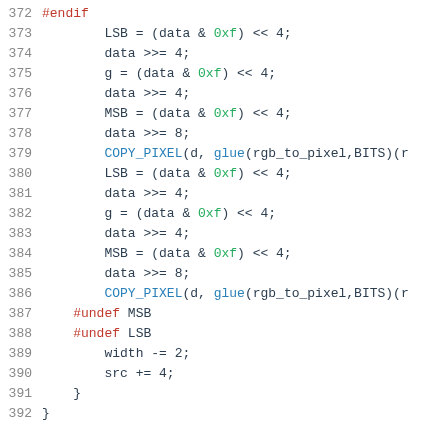372  #endif
373      LSB = (data & 0xf) << 4;
374      data >>= 4;
375      g = (data & 0xf) << 4;
376      data >>= 4;
377      MSB = (data & 0xf) << 4;
378      data >>= 8;
379      COPY_PIXEL(d, glue(rgb_to_pixel,BITS)(r
380      LSB = (data & 0xf) << 4;
381      data >>= 4;
382      g = (data & 0xf) << 4;
383      data >>= 4;
384      MSB = (data & 0xf) << 4;
385      data >>= 8;
386      COPY_PIXEL(d, glue(rgb_to_pixel,BITS)(r
387  #undef MSB
388  #undef LSB
389      width -= 2;
390      src += 4;
391      }
392  }